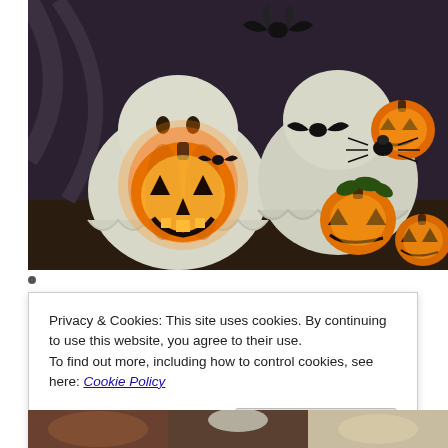[Figure (photo): Halloween decorations featuring ceramic ghost figurines holding lit jack-o'-lanterns, with bat and spider accents, alongside glowing orange pumpkins on a dark surface.]
Privacy & Cookies: This site uses cookies. By continuing to use this website, you agree to their use.
To find out more, including how to control cookies, see here: Cookie Policy
[Figure (photo): Partial view of another Halloween-themed image at the bottom of the page.]